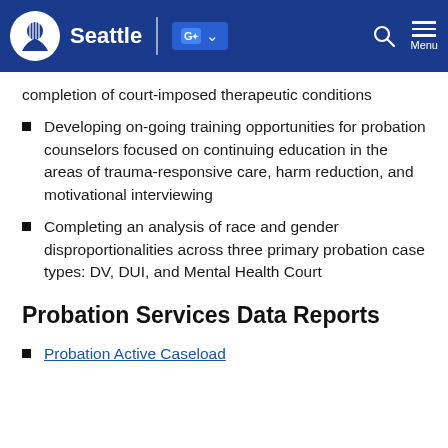Seattle [logo] | Google Translate | Search | Menu
completion of court-imposed therapeutic conditions
Developing on-going training opportunities for probation counselors focused on continuing education in the areas of trauma-responsive care, harm reduction, and motivational interviewing
Completing an analysis of race and gender disproportionalities across three primary probation case types: DV, DUI, and Mental Health Court
Probation Services Data Reports
Probation Active Caseload